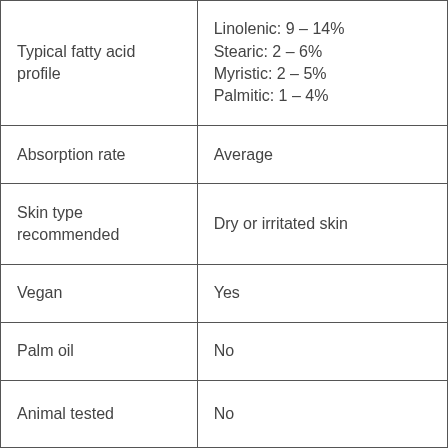| Typical fatty acid profile | Linolenic: 9 - 14%
Stearic: 2 - 6%
Myristic: 2 - 5%
Palmitic: 1 - 4% |
| Absorption rate | Average |
| Skin type recommended | Dry or irritated skin |
| Vegan | Yes |
| Palm oil | No |
| Animal tested | No |